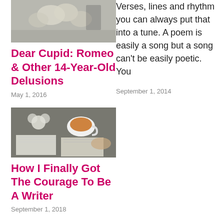[Figure (photo): Photo of white roses on a surface, top of left column, partially cropped]
Dear Cupid: Romeo & Other 14-Year-Old Delusions
May 1, 2016
[Figure (photo): Top-down photo of a cup of tea, open books, and white flowers]
How I Finally Got The Courage To Be A Writer
September 1, 2018
Verses, lines and rhythm you can always put that into a tune. A poem is easily a song but a song can't be easily poetic. You
September 1, 2014